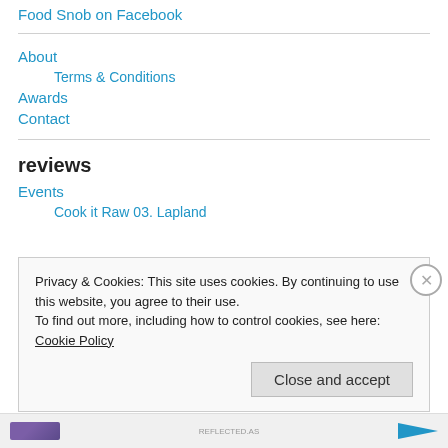Food Snob on Facebook
About
Terms & Conditions
Awards
Contact
reviews
Events
Cook it Raw 03. Lapland
Privacy & Cookies: This site uses cookies. By continuing to use this website, you agree to their use.
To find out more, including how to control cookies, see here: Cookie Policy
Close and accept